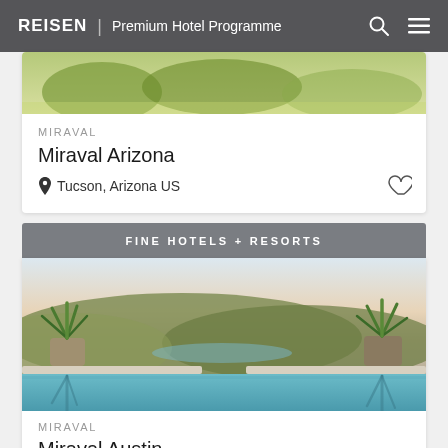REISEN | Premium Hotel Programme
[Figure (photo): Aerial or landscape photo of greenery/vineyard scene, partially visible at top of card]
MIRAVAL
Miraval Arizona
Tucson, Arizona US
FINE HOTELS + RESORTS
[Figure (photo): Infinity pool with two potted agave plants on ledge, overlooking forested hills and lake at dusk]
MIRAVAL
Miraval Austin